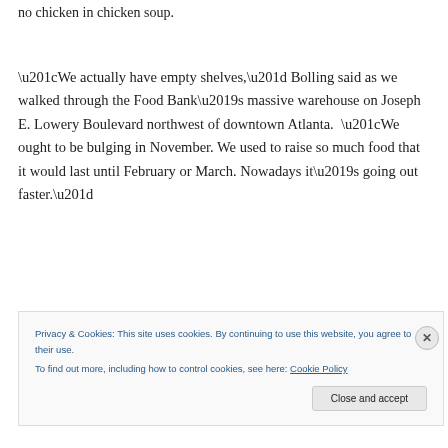no chicken in chicken soup.
“We actually have empty shelves,” Bolling said as we walked through the Food Bank’s massive warehouse on Joseph E. Lowery Boulevard northwest of downtown Atlanta.  “We ought to be bulging in November. We used to raise so much food that it would last until February or March. Nowadays it’s going out faster.”
Privacy & Cookies: This site uses cookies. By continuing to use this website, you agree to their use.
To find out more, including how to control cookies, see here: Cookie Policy
Close and accept